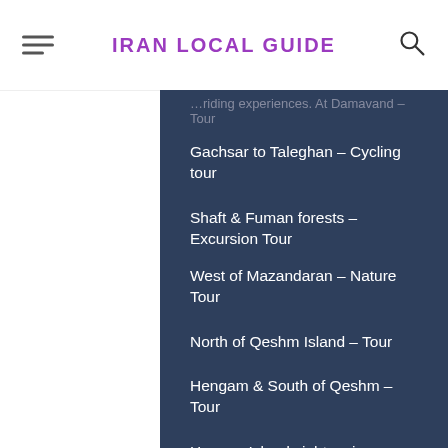IRAN LOCAL GUIDE
Gachsar to Taleghan – Cycling tour
Shaft & Fuman forests – Excursion Tour
West of Mazandaran – Nature Tour
North of Qeshm Island – Tour
Hengam & South of Qeshm – Tour
Hormuz Island sightseeing – Tour
Desert & Villages of Khur – Tour
Khalkhal to Asalem Hiking – Tour
Bushehr, Mond and Jashak – Tour
Sirvan and villages, Kurdistan – Tour
Visiting the beauties of Tabas – Tour